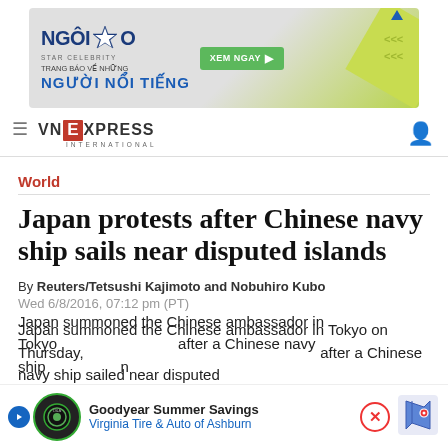[Figure (illustration): Ngoi Sao Vietnamese celebrity news website advertisement banner with logo, text 'TRANG BAO VE NHUNG NGUOI NOI TIENG' and green 'XEM NGAY' button]
VN EXPRESS INTERNATIONAL
World
Japan protests after Chinese navy ship sails near disputed islands
By Reuters/Tetsushi Kajimoto and Nobuhiro Kubo
Wed 6/8/2016, 07:12 pm (PT)
Japan summoned the Chinese ambassador in Tokyo on Thursday, after a Chinese navy ship sailed near disputed islands...
[Figure (illustration): Goodyear Summer Savings overlay ad - Virginia Tire & Auto of Ashburn with map icon and close button]